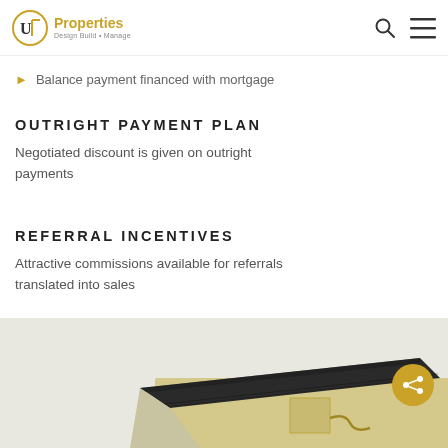UT Properties — navigation bar with search and menu icons
Balance payment financed with mortgage
OUTRIGHT PAYMENT PLAN
Negotiated discount is given on outright payments
REFERRAL INCENTIVES
Attractive commissions available for referrals translated into sales
[Figure (photo): Exterior roof/eave of a modern house with dark tiled roof and light yellow/cream walls, partial view from below against a light sky.]